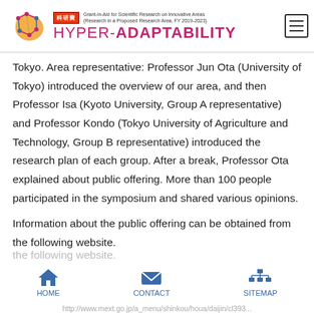HYPER-ADAPTABILITY — Grant-in-Aid for Scientific Research on Innovative Areas (Research in a Proposed Research Area, FY 2019-2023)
Tokyo. Area representative: Professor Jun Ota (University of Tokyo) introduced the overview of our area, and then Professor Isa (Kyoto University, Group A representative) and Professor Kondo (Tokyo University of Agriculture and Technology, Group B representative) introduced the research plan of each group. After a break, Professor Ota explained about public offering. More than 100 people participated in the symposium and shared various opinions.
Information about the public offering can be obtained from the following website.
HOME   CONTACT   SITEMAP
http://www.mext.go.jp/a_menu/shinkou/houa/daijin/cl393...